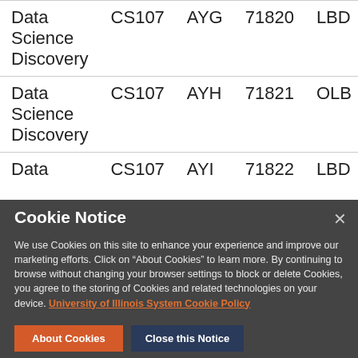| Data Science Discovery | CS107 | AYG | 71820 | LBD | 0 | 1100
1220 |
| Data Science Discovery | CS107 | AYH | 71821 | OLB | 0 | 1230
1350 |
| Data | CS107 | AYI | 71822 | LBD | 0 | 1400 |
Cookie Notice

We use Cookies on this site to enhance your experience and improve our marketing efforts. Click on “About Cookies” to learn more. By continuing to browse without changing your browser settings to block or delete Cookies, you agree to the storing of Cookies and related technologies on your device. University of Illinois System Cookie Policy